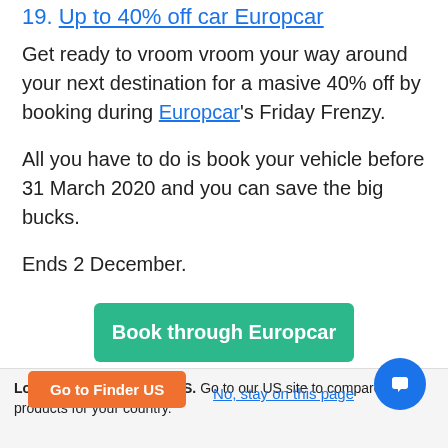19. Up to 40% off car Europcar
Get ready to vroom vroom your way around your next destination for a masive 40% off by booking during Europcar's Friday Frenzy.
All you have to do is book your vehicle before 31 March 2020 and you can save the big bucks.
Ends 2 December.
[Figure (other): Green button labeled 'Book through Europcar']
Looks like you're in the US. Go to our US site to compare rele... products for your country.
[Figure (other): Orange button labeled 'Go to Finder US' and a link 'No, stay on this page', with a blue chat bubble icon in bottom right]